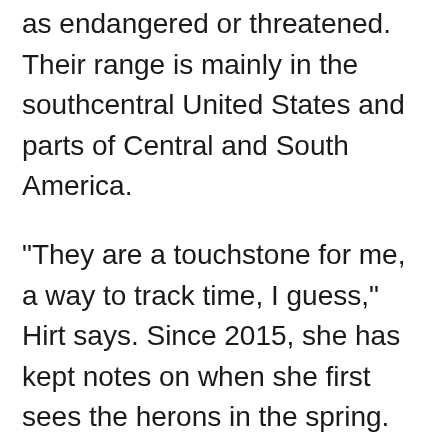as endangered or threatened. Their range is mainly in the southcentral United States and parts of Central and South America.
"They are a touchstone for me, a way to track time, I guess," Hirt says. Since 2015, she has kept notes on when she first sees the herons in the spring.
"This year, there are fewer heron nests, at least in the trees I've watched over the last six years," Hirt adds. "They aren't hunting as much (for insects) in the vacant lots between 3rd and 7th Streets. I chalk this up to increased development in those areas. On the upside, I am seeing more at the river